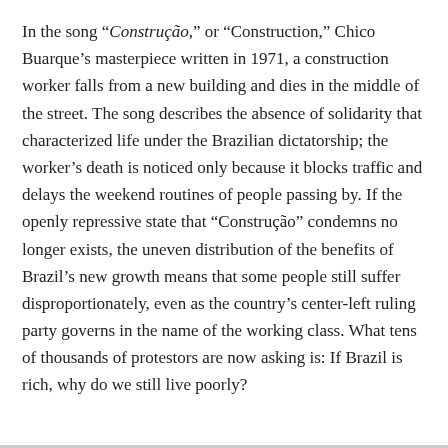In the song “Construção,” or “Construction,” Chico Buarque’s masterpiece written in 1971, a construction worker falls from a new building and dies in the middle of the street. The song describes the absence of solidarity that characterized life under the Brazilian dictatorship; the worker’s death is noticed only because it blocks traffic and delays the weekend routines of people passing by. If the openly repressive state that “Construção” condemns no longer exists, the uneven distribution of the benefits of Brazil’s new growth means that some people still suffer disproportionately, even as the country’s center-left ruling party governs in the name of the working class. What tens of thousands of protestors are now asking is: If Brazil is rich, why do we still live poorly?